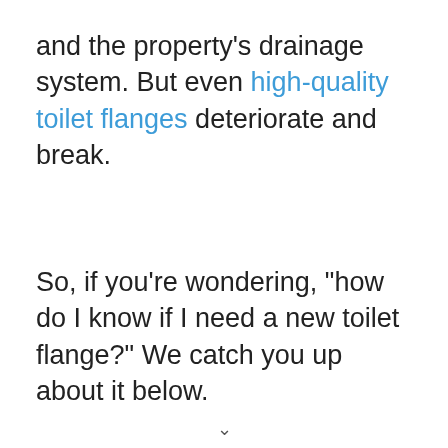and the property's drainage system. But even high-quality toilet flanges deteriorate and break.
So, if you're wondering, “how do I know if I need a new toilet flange?” We catch you up about it below.